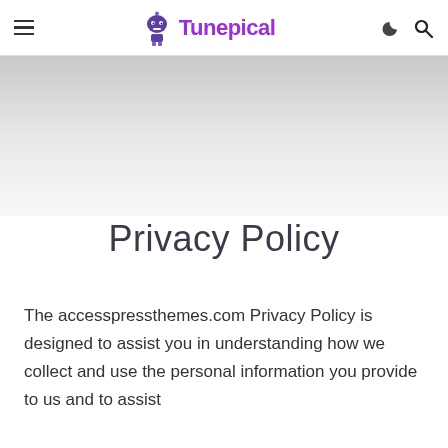Tunepical — navigation header with hamburger menu, logo, moon icon, search icon
[Figure (illustration): Gradient hero banner area, light gray to white gradient]
Privacy Policy
The accesspressthemes.com Privacy Policy is designed to assist you in understanding how we collect and use the personal information you provide to us and to assist